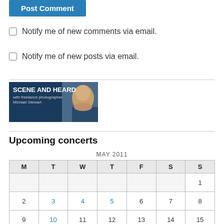Post Comment
Notify me of new comments via email.
Notify me of new posts via email.
[Figure (photo): Scene and Heard banner with freelance photographer Michael Stewart]
Upcoming concerts
| M | T | W | T | F | S | S |
| --- | --- | --- | --- | --- | --- | --- |
|  |  |  |  |  |  | 1 |
| 2 | 3 | 4 | 5 | 6 | 7 | 8 |
| 9 | 10 | 11 | 12 | 13 | 14 | 15 |
| 16 | 17 | 18 | 19 | 20 | 21 | 22 |